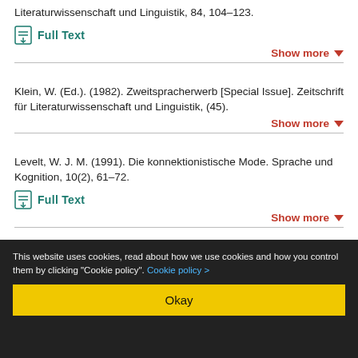Literaturwissenschaft und Linguistik, 84, 104–123.
Full Text
Show more
Klein, W. (Ed.). (1982). Zweitspracherwerb [Special Issue]. Zeitschrift für Literaturwissenschaft und Linguistik, (45).
Show more
Levelt, W. J. M. (1991). Die konnektionistische Mode. Sprache und Kognition, 10(2), 61–72.
Full Text
Show more
This website uses cookies, read about how we use cookies and how you control them by clicking "Cookie policy". Cookie policy >
Okay